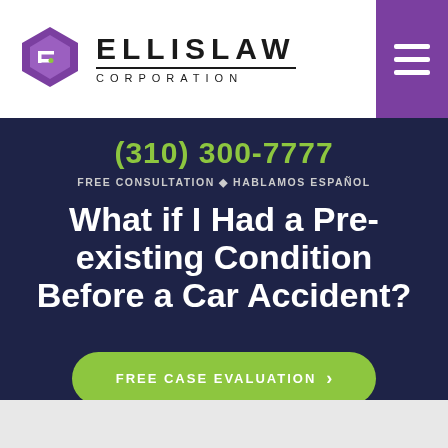[Figure (logo): Ellis Law Corporation logo with purple geometric diamond/shield icon and ELLISLAW CORPORATION text]
(310) 300-7777
FREE CONSULTATION ◆ HABLAMOS ESPAÑOL
What if I Had a Pre-existing Condition Before a Car Accident?
FREE CASE EVALUATION >